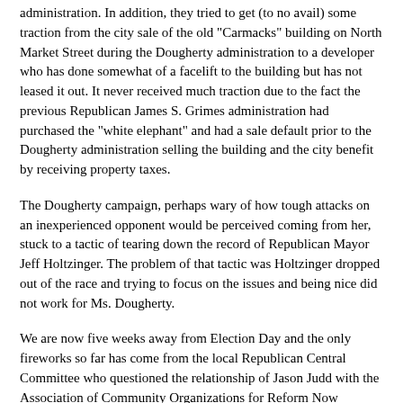administration. In addition, they tried to get (to no avail) some traction from the city sale of the old "Carmacks" building on North Market Street during the Dougherty administration to a developer who has done somewhat of a facelift to the building but has not leased it out. It never received much traction due to the fact the previous Republican James S. Grimes administration had purchased the "white elephant" and had a sale default prior to the Dougherty administration selling the building and the city benefit by receiving property taxes.
The Dougherty campaign, perhaps wary of how tough attacks on an inexperienced opponent would be perceived coming from her, stuck to a tactic of tearing down the record of Republican Mayor Jeff Holtzinger. The problem of that tactic was Holtzinger dropped out of the race and trying to focus on the issues and being nice did not work for Ms. Dougherty.
We are now five weeks away from Election Day and the only fireworks so far has come from the local Republican Central Committee who questioned the relationship of Jason Judd with the Association of Community Organizations for Reform Now (ACORN) and SEIU. I hardly found this to be a surprise. Instead, I wondered why it took so long for this to be asked and why the Judd campaign was not prepared for an